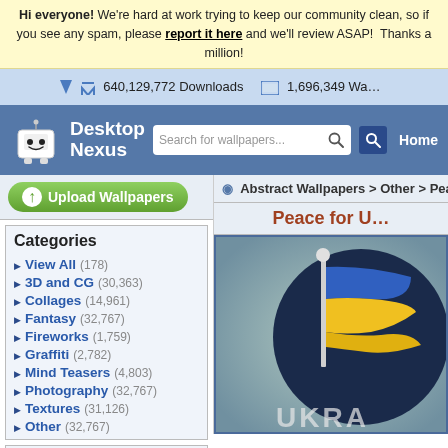Hi everyone! We're hard at work trying to keep our community clean, so if you see any spam, please report it here and we'll review ASAP! Thanks a million!
640,129,772 Downloads   1,696,349 Wallpapers
[Figure (logo): Desktop Nexus logo with robot mascot, search bar, and Home navigation]
[Figure (screenshot): Upload Wallpapers button and breadcrumb navigation showing Abstract Wallpapers > Other > Peace f...]
Categories
View All (178)
3D and CG (30,363)
Collages (14,961)
Fantasy (32,767)
Fireworks (1,759)
Graffiti (2,782)
Mind Teasers (4,803)
Photography (32,767)
Textures (31,126)
Other (32,767)
Downloads: 640,129,772
Abstract Walls: 461,477
All Wallpapers: 1,696,349
Tag Count: 9,948,936
Peace for U
[Figure (illustration): Ukrainian flag illustration on dark circular background with text UKRA at bottom]